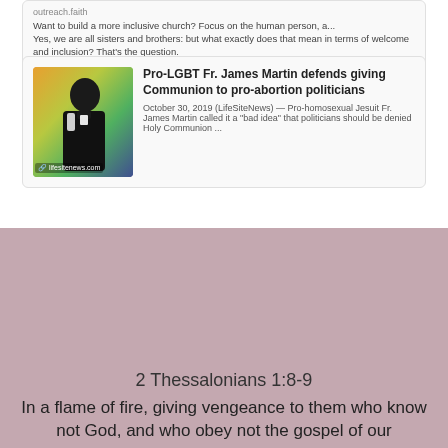outreach.faith
Want to build a more inclusive church? Focus on the human person, a... Yes, we are all sisters and brothers: but what exactly does that mean in terms of welcome and inclusion? That's the question.
[Figure (photo): Photo of Fr. James Martin in clerical collar against a colorful background, with lifesitenews.com watermark]
Pro-LGBT Fr. James Martin defends giving Communion to pro-abortion politicians
October 30, 2019 (LifeSiteNews) — Pro-homosexual Jesuit Fr. James Martin called it a "bad idea" that politicians should be denied Holy Communion ...
[Figure (photo): Image card titled 'WICKED TEACHERS' with three photos of religious figures and a quote from 2 Timothy 4:3]
For the time will come when they will not endure sound doctrine. But after their own lusts shall they heap to themselves teachers. (Cf. 2 Timothy 4:3)
2 Thessalonians 1:8-9
In a flame of fire, giving vengeance to them who know not God, and who obey not the gospel of our